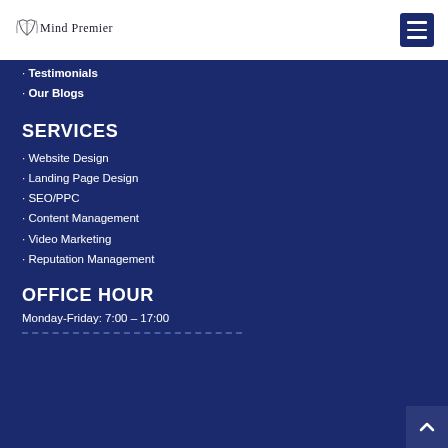Mind Premier
· Testimonials
· Our Blogs
SERVICES
· Website Design
· Landing Page Design
· SEO/PPC
· Content Management
· Video Marketing
· Reputation Management
OFFICE HOUR
Monday-Friday: 7:00 – 17:00